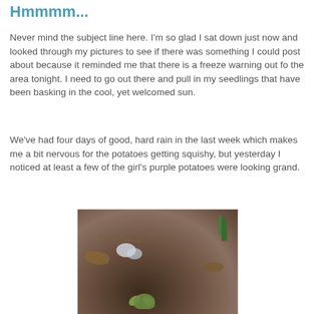Hmmmm...
Never mind the subject line here. I'm so glad I sat down just now and looked through my pictures to see if there was something I could post about because it reminded me that there is a freeze warning out fo the area tonight. I need to go out there and pull in my seedlings that have been basking in the cool, yet welcomed sun.
We've had four days of good, hard rain in the last week which makes me a bit nervous for the potatoes getting squishy, but yesterday I noticed at least a few of the girl's purple potatoes were looking grand.
[Figure (photo): A garden bed photo showing soil with small plant sprouts, some frost or white material on the soil, dead leaves, and green grass shoots in the background.]